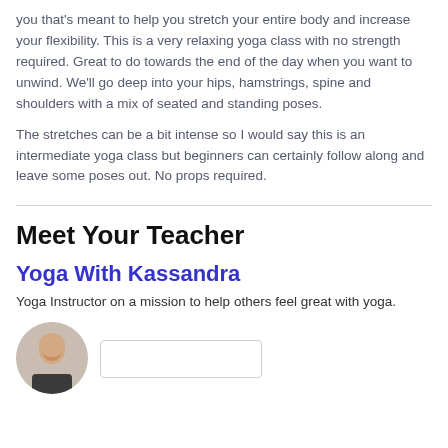you that's meant to help you stretch your entire body and increase your flexibility. This is a very relaxing yoga class with no strength required. Great to do towards the end of the day when you want to unwind. We'll go deep into your hips, hamstrings, spine and shoulders with a mix of seated and standing poses.
The stretches can be a bit intense so I would say this is an intermediate yoga class but beginners can certainly follow along and leave some poses out. No props required.
Meet Your Teacher
Yoga With Kassandra
Yoga Instructor on a mission to help others feel great with yoga.
[Figure (photo): Circular photo of yoga instructor Kassandra, partially visible at bottom of page]